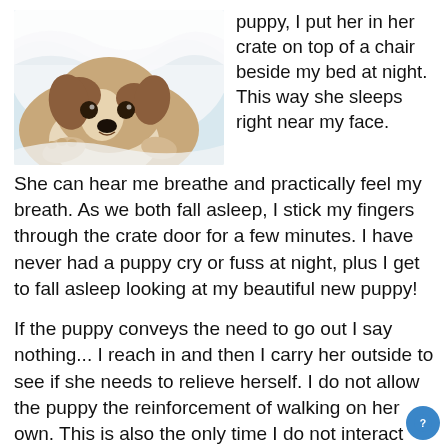[Figure (photo): A Jack Russell Terrier puppy lying under a white blanket/sheet, looking up at the camera with big brown eyes, paws visible near its face.]
puppy, I put her in her crate on top of a chair beside my bed at night. This way she sleeps right near my face. She can hear me breathe and practically feel my breath. As we both fall asleep, I stick my fingers through the crate door for a few minutes. I have never had a puppy cry or fuss at night, plus I get to fall asleep looking at my beautiful new puppy!
If the puppy conveys the need to go out I say nothing... I reach in and then I carry her outside to see if she needs to relieve herself. I do not allow the puppy the reinforcement of walking on her own. This is also the only time I do not interact with my puppies after they have pottied outside. I may quietly praise her, but I